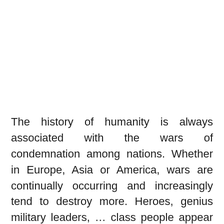The history of humanity is always associated with the wars of condemnation among nations. Whether in Europe, Asia or America, wars are continually occurring and increasingly tend to destroy more. Heroes, genius military leaders, ... class people appear along with campaigns in history. Are you interested in military secrets, transformations, strategies to move positions among nations, ...?